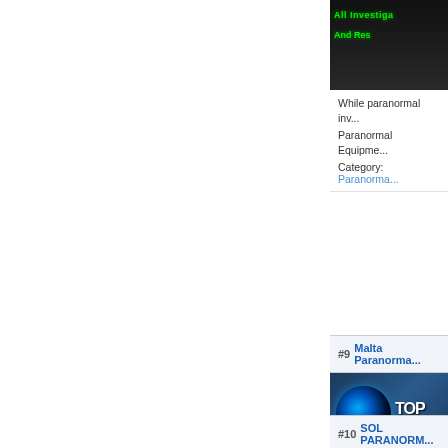[Figure (screenshot): Partial top image from a paranormal website listing — dark background with green text reading 'And Res...']
While paranormal inv...
Paranormal Equipme...
Category: Paranorma...
#9  Malta Paranorma...
[Figure (screenshot): Image with a blue eye on dark background and text 'TOP' and 'AWAITING']
Malta's most trusted...
members of the Euro...
Category: Paranorma...
#10  SOL PARANORM...
[Figure (screenshot): Partial image at bottom of page]